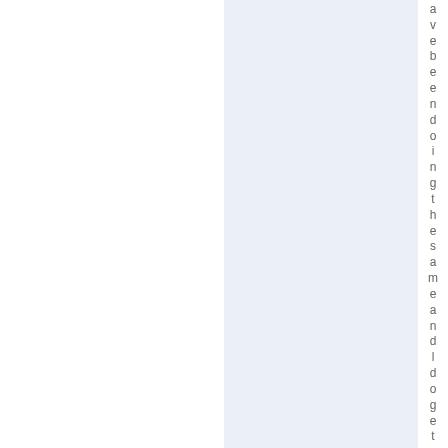a v e b e e n d o i n g t h e s a m e a n d I d o g e t a r